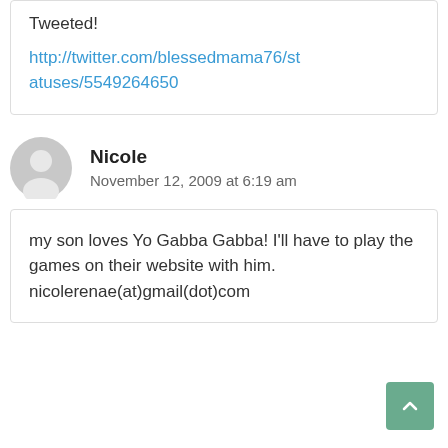Tweeted!
http://twitter.com/blessedmama76/statuses/5549264650
Nicole
November 12, 2009 at 6:19 am
my son loves Yo Gabba Gabba! I'll have to play the games on their website with him. nicolerenae(at)gmail(dot)com